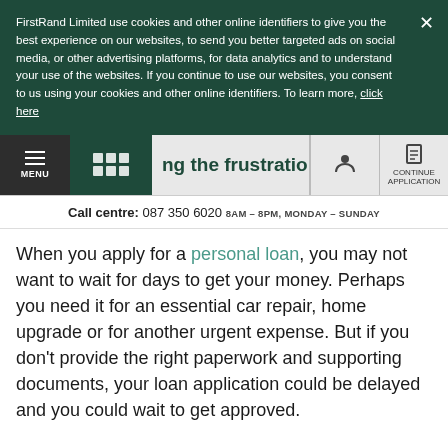FirstRand Limited use cookies and other online identifiers to give you the best experience on our websites, to send you better targeted ads on social media, or other advertising platforms, for data analytics and to understand your use of the websites. If you continue to use our websites, you consent to us using your cookies and other online identifiers. To learn more, click here
ng the frustration out of getting | MENU | CONTINUE APPLICATION
Call centre: 087 350 6020 8AM – 8PM, MONDAY – SUNDAY
When you apply for a personal loan, you may not want to wait for days to get your money. Perhaps you need it for an essential car repair, home upgrade or for another urgent expense. But if you don't provide the right paperwork and supporting documents, your loan application could be delayed and you could wait to get approved.
Whatever the reason or the size of a personal loan, you'll always be asked to provide supporting